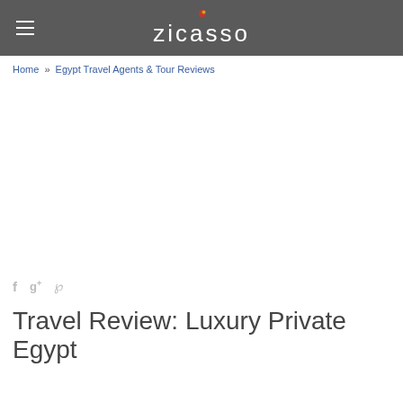zicasso
Home » Egypt Travel Agents & Tour Reviews
[Figure (other): Social media share icons: Facebook (f), Google+ (g+), Pinterest (p)]
Travel Review: Luxury Private Egypt